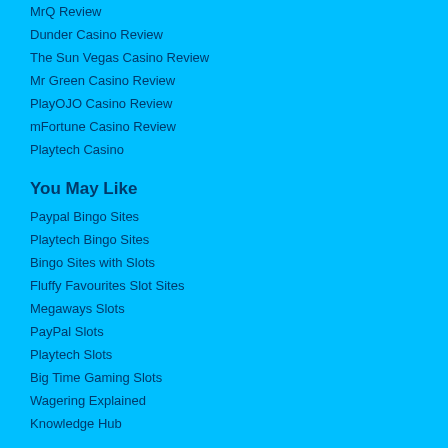MrQ Review
Dunder Casino Review
The Sun Vegas Casino Review
Mr Green Casino Review
PlayOJO Casino Review
mFortune Casino Review
Playtech Casino
You May Like
Paypal Bingo Sites
Playtech Bingo Sites
Bingo Sites with Slots
Fluffy Favourites Slot Sites
Megaways Slots
PayPal Slots
Playtech Slots
Big Time Gaming Slots
Wagering Explained
Knowledge Hub